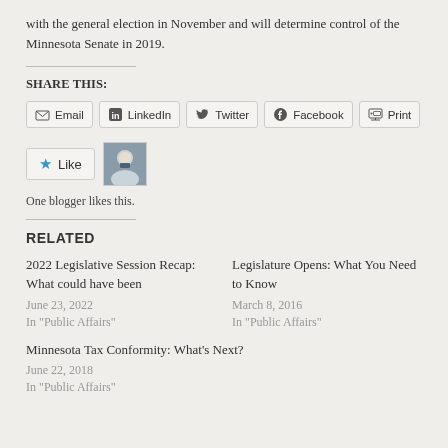with the general election in November and will determine control of the Minnesota Senate in 2019.
SHARE THIS:
Email | LinkedIn | Twitter | Facebook | Print
Like
One blogger likes this.
RELATED
2022 Legislative Session Recap: What could have been
June 23, 2022
In "Public Affairs"
Legislature Opens: What You Need to Know
March 8, 2016
In "Public Affairs"
Minnesota Tax Conformity: What's Next?
June 22, 2018
In "Public Affairs"